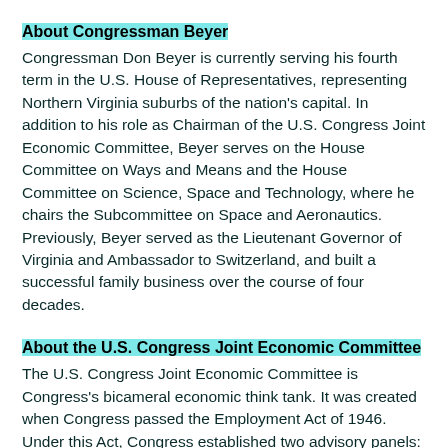About Congressman Beyer
Congressman Don Beyer is currently serving his fourth term in the U.S. House of Representatives, representing Northern Virginia suburbs of the nation's capital. In addition to his role as Chairman of the U.S. Congress Joint Economic Committee, Beyer serves on the House Committee on Ways and Means and the House Committee on Science, Space and Technology, where he chairs the Subcommittee on Space and Aeronautics. Previously, Beyer served as the Lieutenant Governor of Virginia and Ambassador to Switzerland, and built a successful family business over the course of four decades.
About the U.S. Congress Joint Economic Committee
The U.S. Congress Joint Economic Committee is Congress's bicameral economic think tank. It was created when Congress passed the Employment Act of 1946. Under this Act, Congress established two advisory panels: the President's Council of Economic Advisors (CEA) and the JEC. Their primary tasks are to